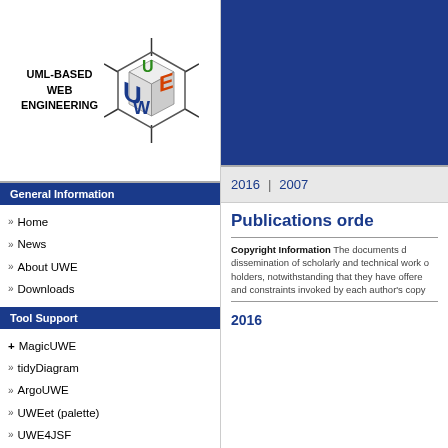[Figure (logo): UWE UML-Based Web Engineering logo — hexagonal cube icon with U, W, E letters in blue, orange, green, with geometric hexagon frame lines]
General Information
Home
News
About UWE
Downloads
Tool Support
MagicUWE
tidyDiagram
ArgoUWE
UWEet (palette)
UWE4JSF
UWE2FACPL
MagicSNP
2016  |  2007
Publications orde
Copyright Information The documents d... dissemination of scholarly and technical work o... holders, notwithstanding that they have offere... and constraints invoked by each author's copy...
2016